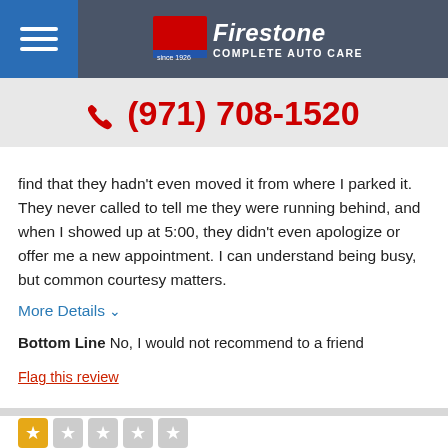Firestone Complete Auto Care
(971) 708-1520
find that they hadn't even moved it from where I parked it. They never called to tell me they were running behind, and when I showed up at 5:00, they didn't even apologize or offer me a new appointment. I can understand being busy, but common courtesy matters.
More Details ∨
Bottom Line No, I would not recommend to a friend
Flag this review
DO NOT USE THE ONLINE SCH